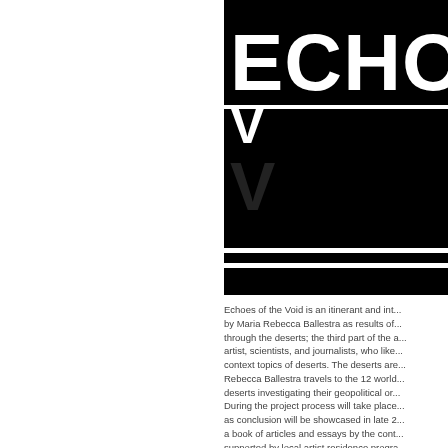[Figure (logo): Echoes of the Void logo — large bold white text 'ECHOE' and 'V' on black background with horizontal stripe bands, stacked typographic logo design cropped at right edge]
Echoes of the Void is an itinerant and int... by Maria Rebecca Ballestra as results of... through the deserts; the third part of the... artist, scientists, and journalists, who like... context topics of deserts. The deserts are... Rebecca Ballestra travels to the 12 world... deserts investigating their geopolitical or... During the project process will take place... as conclusion will be showcased in late 2... a book of articles and essays by the cont... supported by local artist residence progra...
For information about the project and app... http://echoesofthevoid.com/contributers-...